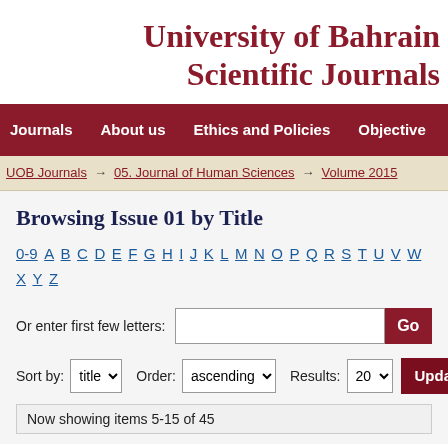University of Bahrain Scientific Journals
Journals   About us   Ethics and Policies   Objective
UOB Journals → 05. Journal of Human Sciences → Volume 2015
Browsing Issue 01 by Title
0-9 A B C D E F G H I J K L M N O P Q R S T U V W X Y Z
Or enter first few letters:
Sort by: title   Order: ascending   Results: 20   Update
Now showing items 5-15 of 45